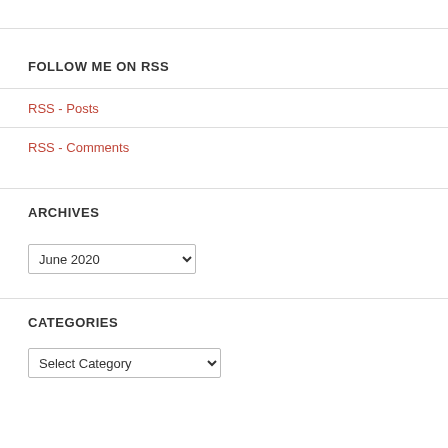FOLLOW ME ON RSS
RSS - Posts
RSS - Comments
ARCHIVES
June 2020 [dropdown]
CATEGORIES
Select Category [dropdown]